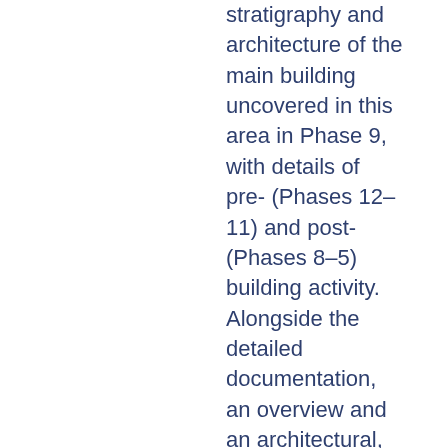stratigraphy and architecture of the main building uncovered in this area in Phase 9, with details of pre- (Phases 12–11) and post- (Phases 8–5) building activity. Alongside the detailed documentation, an overview and an architectural, contextual, functional and chronological synthesis are provided. Volume IIB (Qedem 11) presents the local and imported Late Bronze Age pottery of Phases 12–11 and the Iron Age pottery of Phases 10–5, along with other artifacts and ecofacts, including metal, flint, glyptics, ornamental and utilitarian objects, animal bones, human skeletal remains and shells. Volume